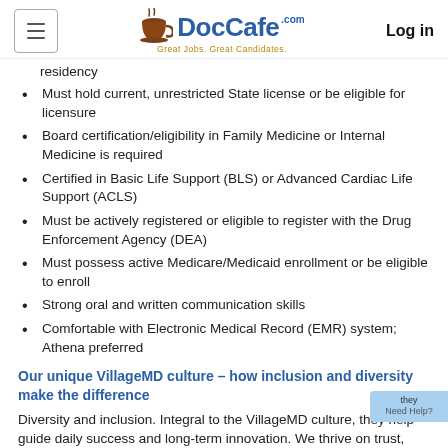DocCafe.com — Great Jobs. Great Candidates. Log in
residency
Must hold current, unrestricted State license or be eligible for licensure
Board certification/eligibility in Family Medicine or Internal Medicine is required
Certified in Basic Life Support (BLS) or Advanced Cardiac Life Support (ACLS)
Must be actively registered or eligible to register with the Drug Enforcement Agency (DEA)
Must possess active Medicare/Medicaid enrollment or be eligible to enroll
Strong oral and written communication skills
Comfortable with Electronic Medical Record (EMR) system; Athena preferred
Our unique VillageMD culture – how inclusion and diversity make the difference
Diversity and inclusion. Integral to the VillageMD culture, they help guide daily success and long-term innovation. We thrive on trust, acceptance, and respect – it's what we provide to others and what we expect. And while we are diverse, we share